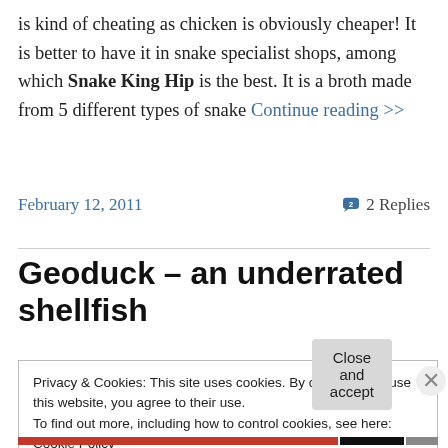is kind of cheating as chicken is obviously cheaper! It is better to have it in snake specialist shops, among which Snake King Hip is the best. It is a broth made from 5 different types of snake Continue reading >>
February 12, 2011
2 Replies
Geoduck – an underrated shellfish
Privacy & Cookies: This site uses cookies. By continuing to use this website, you agree to their use.
To find out more, including how to control cookies, see here: Cookie Policy
Close and accept